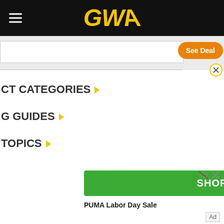GWA
[Figure (screenshot): Search bar area with See Deal button and close circle icon]
CT CATEGORIES ▸
G GUIDES ▸
TOPICS ▸
[Figure (screenshot): SHOP NOW green button advertisement for PUMA Labor Day Sale]
PUMA Labor Day Sale
Ad